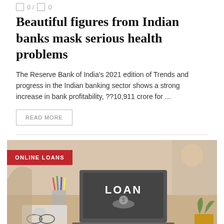0 / 0
Beautiful figures from Indian banks mask serious health problems
The Reserve Bank of India's 2021 edition of Trends and progress in the Indian banking sector shows a strong increase in bank profitability, ??10,911 crore for ...
READ MORE
[Figure (photo): A person working at a laptop displaying the word LOAN with a hand holding a coin graphic. A pencil holder, notebook, glasses, and a plant are visible on a desk. The image has a warm, muted tone. An ONLINE LOANS badge appears in the upper left corner.]